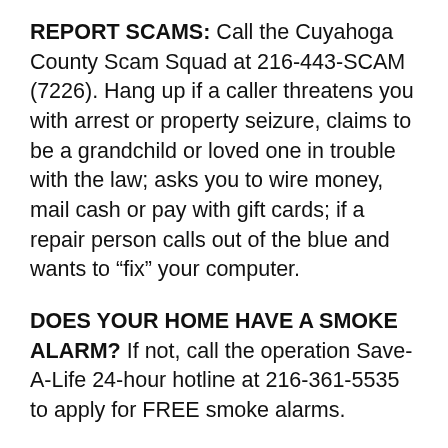REPORT SCAMS: Call the Cuyahoga County Scam Squad at 216-443-SCAM (7226). Hang up if a caller threatens you with arrest or property seizure, claims to be a grandchild or loved one in trouble with the law; asks you to wire money, mail cash or pay with gift cards; if a repair person calls out of the blue and wants to "fix" your computer.
DOES YOUR HOME HAVE A SMOKE ALARM? If not, call the operation Save-A-Life 24-hour hotline at 216-361-5535 to apply for FREE smoke alarms.
DONATIONS
ALUMINUM CANS FOR BURNED CHILDREN (ACBC): Instead of throwing aluminum cans out or placing them on your curb, collect them and take them to your local fire...